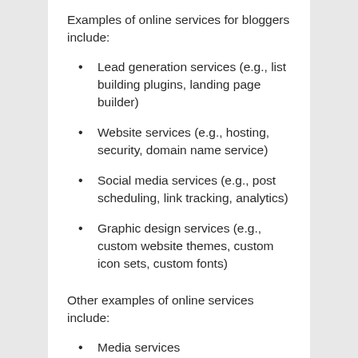Examples of online services for bloggers include:
Lead generation services (e.g., list building plugins, landing page builder)
Website services (e.g., hosting, security, domain name service)
Social media services (e.g., post scheduling, link tracking, analytics)
Graphic design services (e.g., custom website themes, custom icon sets, custom fonts)
Other examples of online services include:
Media services